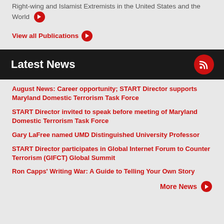Right-wing and Islamist Extremists in the United States and the World
View all Publications
Latest News
August News: Career opportunity; START Director supports Maryland Domestic Terrorism Task Force
START Director invited to speak before meeting of Maryland Domestic Terrorism Task Force
Gary LaFree named UMD Distinguished University Professor
START Director participates in Global Internet Forum to Counter Terrorism (GIFCT) Global Summit
Ron Capps' Writing War: A Guide to Telling Your Own Story
More News